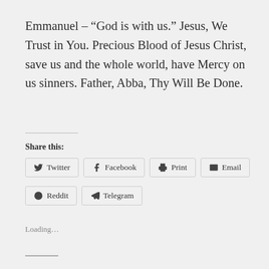Emmanuel – “God is with us.” Jesus, We Trust in You. Precious Blood of Jesus Christ, save us and the whole world, have Mercy on us sinners. Father, Abba, Thy Will Be Done.
Share this:
Twitter  Facebook  Print  Email  Reddit  Telegram
Loading...